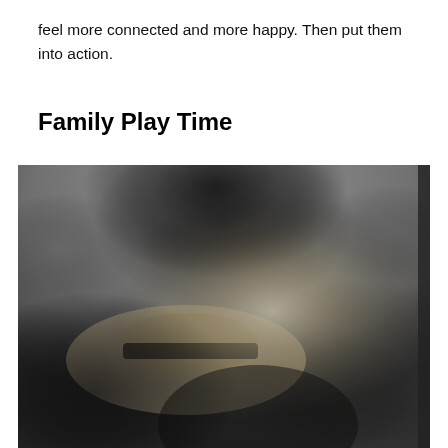feel more connected and more happy. Then put them into action.
Family Play Time
[Figure (photo): Black and white photograph of a woman with long blonde hair holding a wide-brimmed straw hat with a dark band, appearing to kiss or nuzzle a child, with a stone wall in the background.]